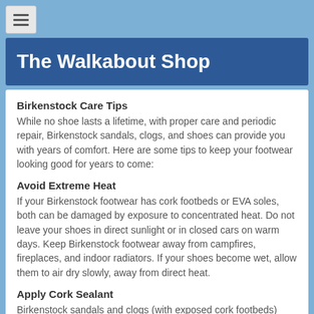[Figure (other): Hamburger menu icon button with three horizontal lines on light gray background]
The Walkabout Shop
Birkenstock Care Tips
While no shoe lasts a lifetime, with proper care and periodic repair, Birkenstock sandals, clogs, and shoes can provide you with years of comfort. Here are some tips to keep your footwear looking good for years to come:
Avoid Extreme Heat
If your Birkenstock footwear has cork footbeds or EVA soles, both can be damaged by exposure to concentrated heat. Do not leave your shoes in direct sunlight or in closed cars on warm days. Keep Birkenstock footwear away from campfires, fireplaces, and indoor radiators. If your shoes become wet, allow them to air dry slowly, away from direct heat.
Apply Cork Sealant
Birkenstock sandals and clogs (with exposed cork footbeds) come with a light coating of cork sealant on the exposed cork edge. This prevents the cork from drying out. When your cork no longer looks shiny, apply a thin coat of Birkenstock Cork Life® to protect the cork from the elements.
Renew or Replace Worn Soles